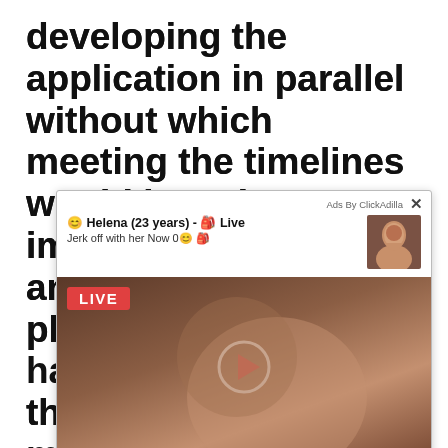developing the application in parallel without which meeting the timelines would have been impossible, mobile as an application platform has matured significantly the mobile application market has evolved to not just make it possible but was
[Figure (other): An intrusive ad overlay from ClickAdilla showing a live cam advertisement featuring 'Helena (23 years) - Live' with a profile thumbnail, a large image with a LIVE badge and play button overlay, and a close button.]